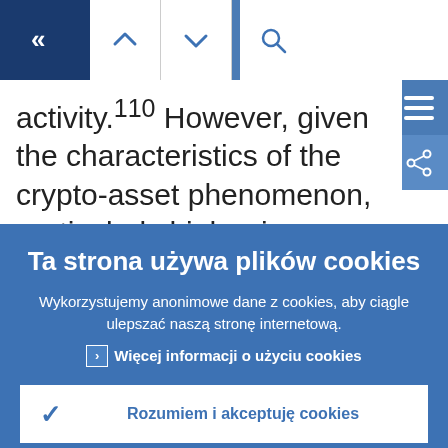[Figure (screenshot): Navigation bar with back button (dark blue, double left chevron), up and down arrow buttons (white), and search icon (white)]
activity.[10] However, given the characteristics of the crypto-asset phenomenon, particularly high price volatility, it is difficult to envisage
Ta strona używa plików cookies
Wykorzystujemy anonimowe dane z cookies, aby ciągle ulepszać naszą stronę internetową.
› Więcej informacji o użyciu cookies
✓ Rozumiem i akceptuję cookies
✗ Nie akceptuję cookies